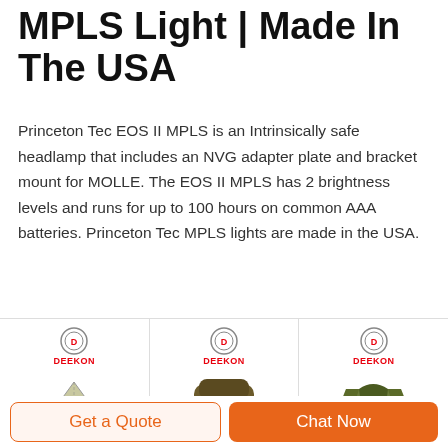MPLS Light | Made In The USA
Princeton Tec EOS II MPLS is an Intrinsically safe headlamp that includes an NVG adapter plate and bracket mount for MOLLE. The EOS II MPLS has 2 brightness levels and runs for up to 100 hours on common AAA batteries. Princeton Tec MPLS lights are made in the USA.
[Figure (photo): Three product images side by side with DEEKON logo: military tent (left), camouflage backpack (center), tactical vest (right)]
Get a Quote | Chat Now